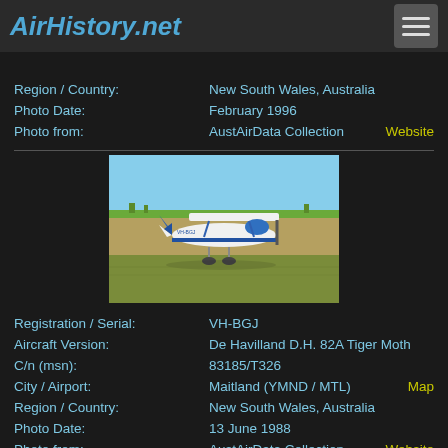AirHistory.net
Region / Country: New South Wales, Australia
Photo Date: February 1996
Photo from: AustAirData Collection   Website
[Figure (photo): De Havilland D.H. 82A Tiger Moth biplane VH-BGJ on grass, white and blue livery, at Maitland airport, 13 June 1988]
Registration / Serial: VH-BGJ
Aircraft Version: De Havilland D.H. 82A Tiger Moth
C/n (msn): 83185/T326
City / Airport: Maitland (YMND / MTL)   Map
Region / Country: New South Wales, Australia
Photo Date: 13 June 1988
Photo from: AustAirData Collection   Website